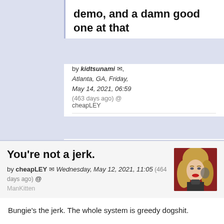demo, and a damn good one at that
by kidtsunami ✉, Atlanta, GA, Friday, May 14, 2021, 06:59 (463 days ago) @ cheapLEY
- No text -
🔒 locked   930 views
You’re not a jerk.
by cheapLEY ✉ Wednesday, May 12, 2021, 11:05 (464 days ago) @ ManKitten
[Figure (photo): Avatar photo of a blonde woman with red lips]
Bungie’s the jerk. The whole system is greedy dogshit.